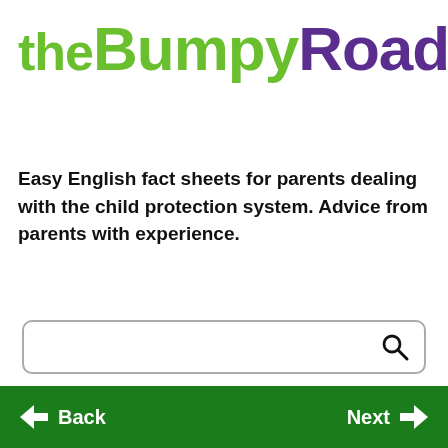[Figure (logo): The Bumpy Road logo: 'the' in green, 'Bumpy' in green bold, 'Road' in purple bold large text]
Easy English fact sheets for parents dealing with the child protection system. Advice from parents with experience.
[Figure (other): Search input box with magnifying glass icon]
[Figure (other): Gray MENU button with hamburger icon]
Back   Next